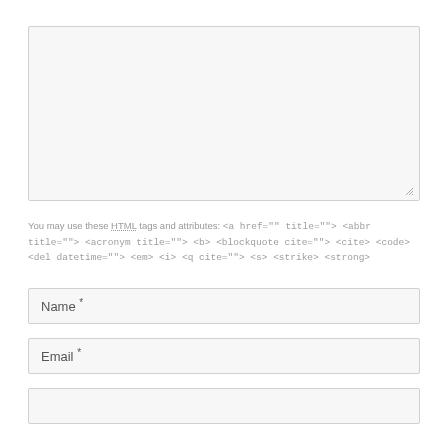[Figure (screenshot): A large empty textarea input box with a light gray background and border, with a resize handle in the bottom-right corner.]
You may use these HTML tags and attributes: <a href="" title=""> <abbr title=""> <acronym title=""> <b> <blockquote cite=""> <cite> <code> <del datetime=""> <em> <i> <q cite=""> <s> <strike> <strong>
[Figure (screenshot): A text input field labeled 'Name *']
[Figure (screenshot): A text input field labeled 'Email *']
[Figure (screenshot): A text input field partially visible at the bottom of the page]